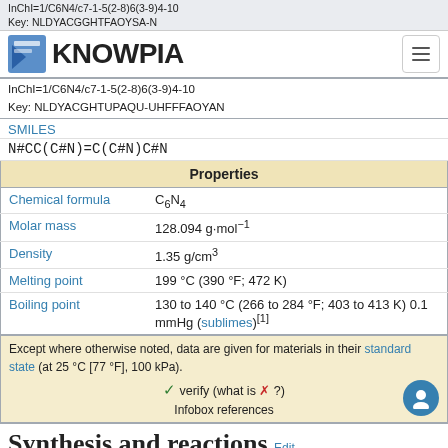KNOWPIA
InChI=1/C6N4/c7-1-5(2-8)6(3-9)4-10
Key: NLDYACGHTUPAQU-UHFFFAOYAN
SMILES
N#CC(C#N)=C(C#N)C#N
| Properties |
| --- |
| Chemical formula | C6N4 |
| Molar mass | 128.094 g·mol−1 |
| Density | 1.35 g/cm3 |
| Melting point | 199 °C (390 °F; 472 K) |
| Boiling point | 130 to 140 °C (266 to 284 °F; 403 to 413 K) 0.1 mmHg (sublimes)[1] |
Except where otherwise noted, data are given for materials in their standard state (at 25 °C [77 °F], 100 kPa).
✓ verify (what is ✗ ?)
Inforbox references
Synthesis and reactions